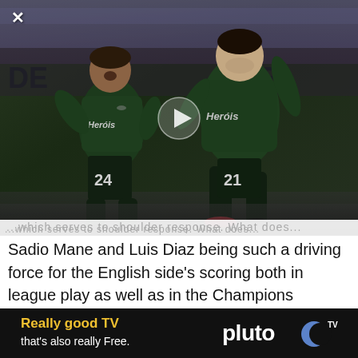[Figure (photo): Two Sporting CP football players in dark green jerseys celebrating a goal on a stadium pitch. Player number 24 on the left celebrates with arms open, player number 21 on the right runs with fist raised. A play button overlay is visible in the center of the image.]
...which serves to shoulder response. What does...
Sadio Mane and Luis Diaz being such a driving force for the English side's scoring both in league play as well as in the Champions League. When combined with Salah, the trio has scored 15 goals in 12 Champions League matches. Liverpool has three
[Figure (other): Pluto TV advertisement banner. Black background with yellow text 'Really good TV' and white text 'that's also really Free.' on the left, and the Pluto TV logo on the right.]